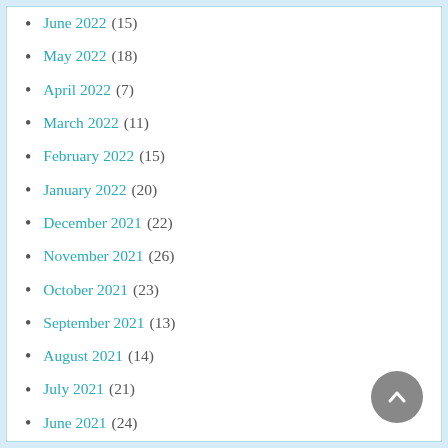June 2022 (15)
May 2022 (18)
April 2022 (7)
March 2022 (11)
February 2022 (15)
January 2022 (20)
December 2021 (22)
November 2021 (26)
October 2021 (23)
September 2021 (13)
August 2021 (14)
July 2021 (21)
June 2021 (24)
May 2021 (26)
April 2021 (17)
March 2021 (19)
February 2021 (16)
January 2021 (23)